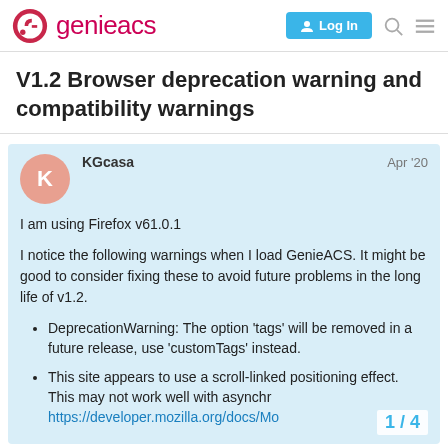GenieACS — Log In
V1.2 Browser deprecation warning and compatibility warnings
KGcasa  Apr '20
I am using Firefox v61.0.1
I notice the following warnings when I load GenieACS. It might be good to consider fixing these to avoid future problems in the long life of v1.2.
DeprecationWarning: The option 'tags' will be removed in a future release, use 'customTags' instead.
This site appears to use a scroll-linked positioning effect. This may not work well with asynchr… https://developer.mozilla.org/docs/Mo…
1 / 4